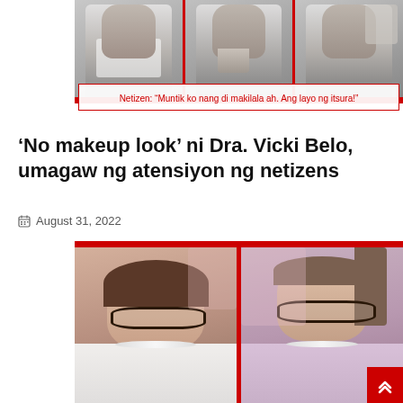[Figure (photo): Three panel composite photo of a woman in a white robe with long black hair making various gestures, with a red quote caption overlay reading: Netizen: "Muntik ko nang di makilala ah. Ang layo ng itsura!"]
Netizen: “Muntik ko nang di makilala ah. Ang layo ng itsura!”
‘No makeup look’ ni Dra. Vicki Belo, umagaw ng atensiyon ng netizens
August 31, 2022
[Figure (photo): Two-panel side-by-side photo of a woman with glasses (Dra. Vicki Belo) with no makeup, wearing a white top with pearl necklace on the left, and a lavender top on the right.]